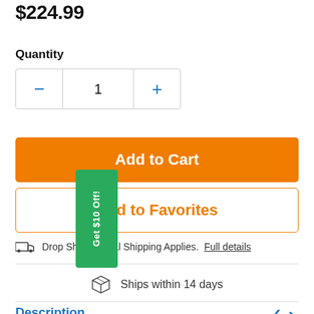$224.99
Quantity
[Figure (screenshot): Quantity selector with minus button, value 1, and plus button]
[Figure (screenshot): Add to Cart orange button]
[Figure (screenshot): Green tag overlay reading Get $10 Off!]
[Figure (screenshot): Add to Favorites outlined orange button]
Drop Ship/Special Shipping Applies.  Full details
Ships within 14 days
Description